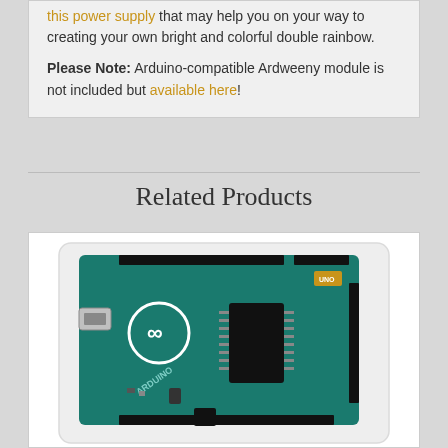this power supply that may help you on your way to creating your own bright and colorful double rainbow.
Please Note: Arduino-compatible Ardweeny module is not included but available here!
Related Products
[Figure (photo): Photo of an Arduino Uno microcontroller board in a clear plastic enclosure, showing the teal/green PCB with black headers, USB port, ATmega chip, and the Arduino logo.]